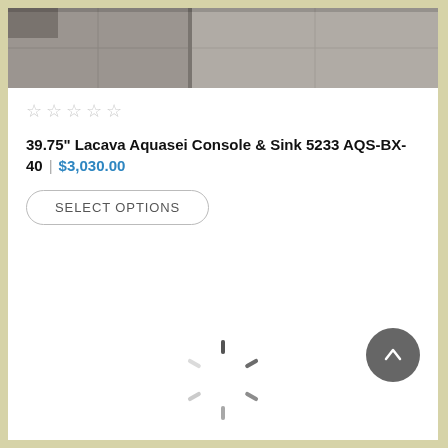[Figure (photo): Top portion of a product image showing gray/taupe tile flooring or a bathroom console/sink product]
★★★★★ (empty star rating)
39.75" Lacava Aquasei Console & Sink 5233 AQS-BX-40 | $3,030.00
SELECT OPTIONS
[Figure (other): Loading spinner / circular progress indicator]
[Figure (other): Back to top arrow button (dark circle with upward arrow)]